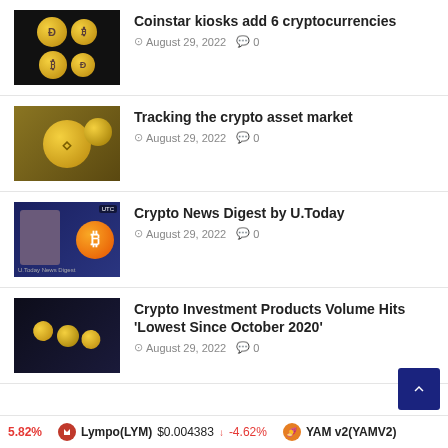Coinstar kiosks add 6 cryptocurrencies
August 29, 2022  0
Tracking the crypto asset market
August 29, 2022  0
Crypto News Digest by U.Today
August 29, 2022  0
Crypto Investment Products Volume Hits 'Lowest Since October 2020'
August 29, 2022  0
5.82%  Lympo(LYM)  $0.004383  ↓  -4.62%  YAM v2(YAMV2)